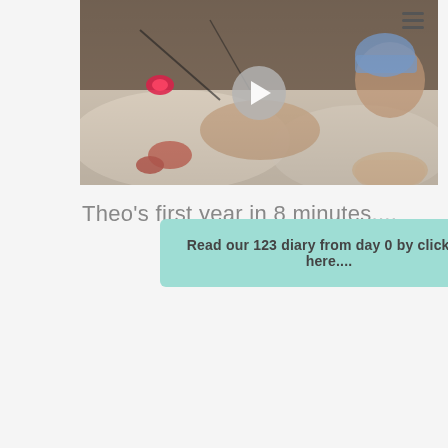[Figure (photo): Photo of a premature baby in a NICU incubator with medical monitors and wires attached, wearing a small blue knit hat. A video play button overlay is visible in the center, and a hamburger menu icon is in the top right corner.]
Theo's first year in 8 minutes....
Read our 123 diary from day 0 by clicking here....